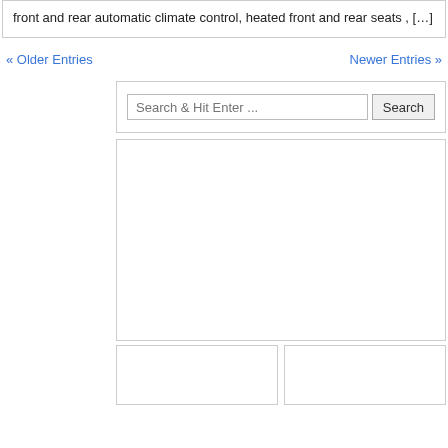front and rear automatic climate control, heated front and rear seats , […]
« Older Entries    Newer Entries »
[Figure (screenshot): Search box with placeholder 'Search & Hit Enter ...' and a Search button]
[Figure (screenshot): Large empty white content box with border]
[Figure (screenshot): Two smaller empty white boxes side by side with borders]